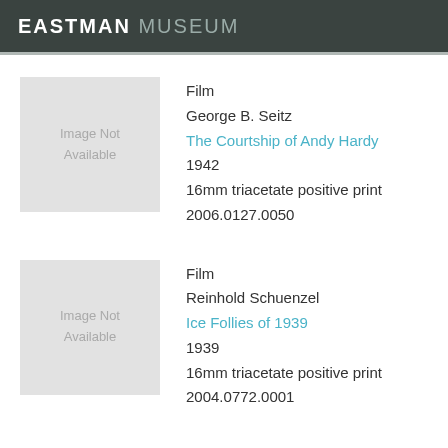EASTMAN MUSEUM
[Figure (illustration): Image Not Available placeholder thumbnail]
Film
George B. Seitz
The Courtship of Andy Hardy
1942
16mm triacetate positive print
2006.0127.0050
[Figure (illustration): Image Not Available placeholder thumbnail]
Film
Reinhold Schuenzel
Ice Follies of 1939
1939
16mm triacetate positive print
2004.0772.0001